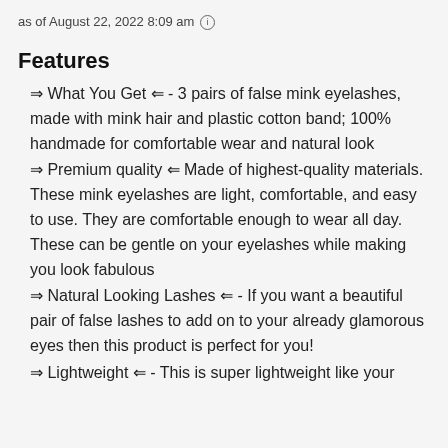as of August 22, 2022 8:09 am ℹ
Features
⇒ What You Get ⇐ - 3 pairs of false mink eyelashes, made with mink hair and plastic cotton band; 100% handmade for comfortable wear and natural look
⇒ Premium quality ⇐ Made of highest-quality materials. These mink eyelashes are light, comfortable, and easy to use. They are comfortable enough to wear all day. These can be gentle on your eyelashes while making you look fabulous
⇒ Natural Looking Lashes ⇐ - If you want a beautiful pair of false lashes to add on to your already glamorous eyes then this product is perfect for you!
⇒ Lightweight ⇐ - This is super lightweight like your